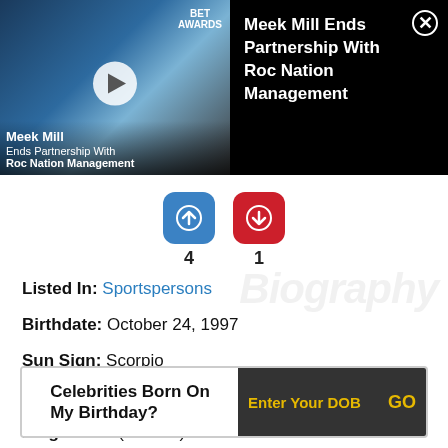[Figure (screenshot): Video thumbnail showing Meek Mill at BET Awards 18 with play button overlay, text 'Meek Mill / Ends Partnership With / Roc Nation Management'. Right side shows headline text on black background: 'Meek Mill Ends Partnership With Roc Nation Management' with close (X) button.]
[Figure (infographic): Two social share icons: blue upvote button with count 4, red downvote button with count 1]
Listed In: Sportspersons
Birthdate: October 24, 1997
Sun Sign: Scorpio
Birthplace: Bristol, England, United Kingdom
Height: 4'7" (140 cm)
Celebrities Born On My Birthday? Enter Your DOB  GO